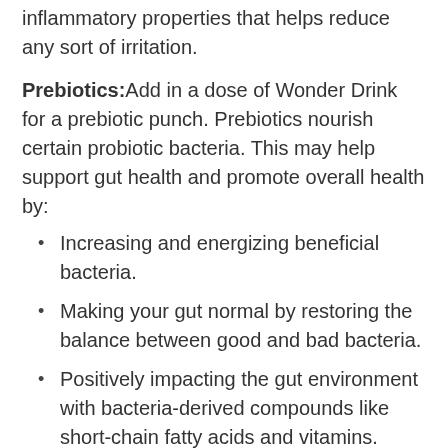inflammatory properties that helps reduce any sort of irritation.
Prebiotics: Add in a dose of Wonder Drink for a prebiotic punch. Prebiotics nourish certain probiotic bacteria. This may help support gut health and promote overall health by:
Increasing and energizing beneficial bacteria.
Making your gut normal by restoring the balance between good and bad bacteria.
Positively impacting the gut environment with bacteria-derived compounds like short-chain fatty acids and vitamins.
Prebiotics nourish certain probiotic bacteria. This may help support health. Gut more probiotic bacteria.